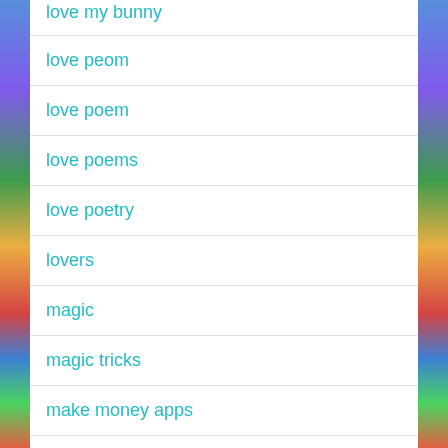love my bunny
love peom
love poem
love poems
love poetry
lovers
magic
magic tricks
make money apps